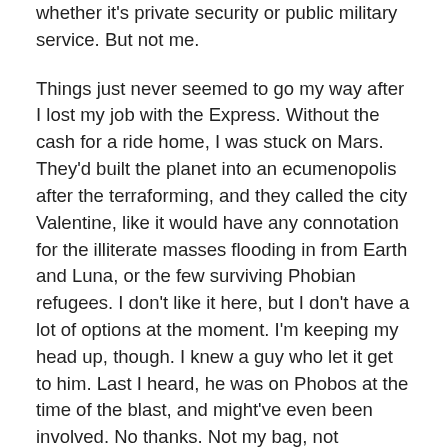whether it's private security or public military service. But not me.
Things just never seemed to go my way after I lost my job with the Express. Without the cash for a ride home, I was stuck on Mars. They'd built the planet into an ecumenopolis after the terraforming, and they called the city Valentine, like it would have any connotation for the illiterate masses flooding in from Earth and Luna, or the few surviving Phobian refugees. I don't like it here, but I don't have a lot of options at the moment. I'm keeping my head up, though. I knew a guy who let it get to him. Last I heard, he was on Phobos at the time of the blast, and might've even been involved. No thanks. Not my bag, not anymore. I got out of that lifestyle years ago, and the Express hired me.